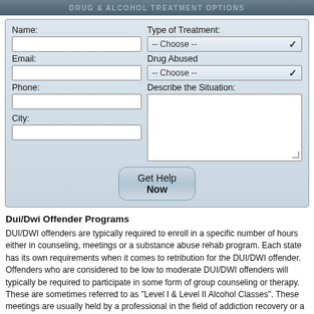Drug & Alcohol Treatment Options
[Figure (screenshot): Web form with fields: Name, Email, Phone, City (left column); Type of Treatment dropdown, Drug Abused dropdown, Describe the Situation textarea (right column); Get Help Now button at bottom center]
Dui/Dwi Offender Programs
DUI/DWI offenders are typically required to enroll in a specific number of hours either in counseling, meetings or a substance abuse rehab program. Each state has its own requirements when it comes to retribution for the DUI/DWI offender. Offenders who are considered to be low to moderate DUI/DWI offenders will typically be required to participate in some form of group counseling or therapy. These are sometimes referred to as "Level I & Level II Alcohol Classes". These meetings are usually held by a professional in the field of addiction recovery or a person with long-term sobriety involved in the Alcoholics or Narcotics Anonymous groups. DUI/DWI offenders deemed to be serious offenders will likely be court-ordered to a full treatment-based form of retribution.